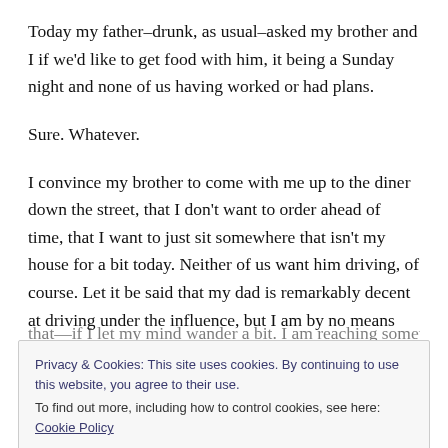Today my father–drunk, as usual–asked my brother and I if we'd like to get food with him, it being a Sunday night and none of us having worked or had plans.
Sure. Whatever.
I convince my brother to come with me up to the diner down the street, that I don't want to order ahead of time, that I want to just sit somewhere that isn't my house for a bit today. Neither of us want him driving, of course. Let it be said that my dad is remarkably decent at driving under the influence, but I am by no means encouraging or condoning that—
Privacy & Cookies: This site uses cookies. By continuing to use this website, you agree to their use.
To find out more, including how to control cookies, see here: Cookie Policy
everything.